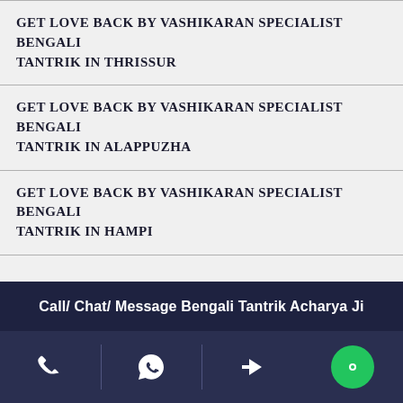GET LOVE BACK BY VASHIKARAN SPECIALIST BENGALI TANTRIK IN THRISSUR
GET LOVE BACK BY VASHIKARAN SPECIALIST BENGALI TANTRIK IN ALAPPUZHA
GET LOVE BACK BY VASHIKARAN SPECIALIST BENGALI TANTRIK IN HAMPI
GET LOVE BACK BY VASHIKARAN SPECIALIST BENGALI TANTRIK IN KOVALAM
GET LOVE BACK BY VASHIKARAN SPECIALIST BENGALI TANTRIK IN ...
Call/ Chat/ Message Bengali Tantrik Acharya Ji